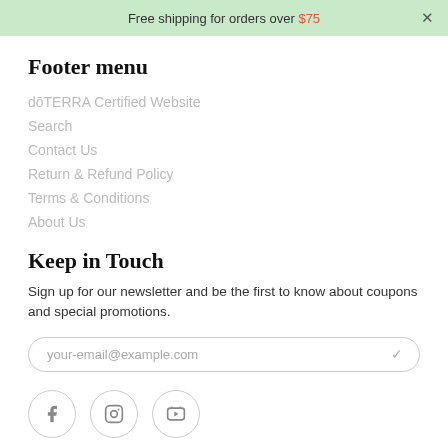Free shipping for orders over $75
Footer menu
dōTERRA Certified Website
Search
Contact Us
Return & Refund Policy
Terms & Conditions
About Us
Keep in Touch
Sign up for our newsletter and be the first to know about coupons and special promotions.
your-email@example.com
[Figure (other): Social media icons: Facebook, Instagram, YouTube]